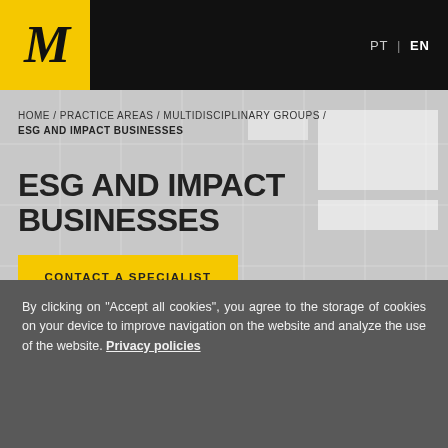M | PT | EN
HOME / PRACTICE AREAS / MULTIDISCIPLINARY GROUPS /
ESG AND IMPACT BUSINESSES
ESG AND IMPACT BUSINESSES
CONTACT A SPECIALIST
KNOW THE TEAM
PDF
TOPICS
By clicking on "Accept all cookies", you agree to the storage of cookies on your device to improve navigation on the website and analyze the use of the website. Privacy policies